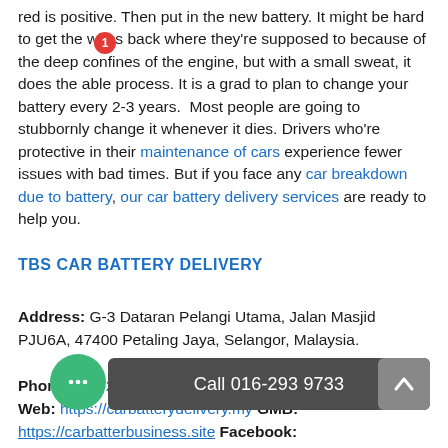red is positive. Then put in the new battery. It might be hard to get the wires back where they're supposed to because of the deep confines of the engine, but with a small sweat, it does the able process. It is a grad to plan to change your battery every 2-3 years.  Most people are going to stubbornly change it whenever it dies. Drivers who're protective in their maintenance of cars experience fewer issues with bad times. But if you face any car breakdown due to battery, our car battery delivery services are ready to help you.
TBS CAR BATTERY DELIVERY
Address: G-3 Dataran Pelangi Utama, Jalan Masjid PJU6A, 47400 Petaling Jaya, Selangor, Malaysia.

Phone: 016-293 9733 Map: https://g.page/TBS-Battery Web: https://carbatterydelivery.my GMB: [link] Facebook: [link] Instagram: https://www.instagram.com/tbs_car_battery_delivery Youtube:
[Figure (screenshot): Chat bubble overlay with green circle icon showing three dots, a red badge with number 1, a dark grey call bar showing 'Call 016-293 9733', and a grey back-to-top button with arrow.]